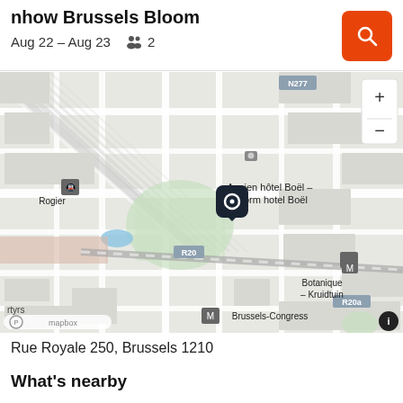nhow Brussels Bloom
Aug 22 – Aug 23   👥 2
[Figure (map): Mapbox street map centered on nhow Brussels Bloom hotel near Botanique-Kruidtuin in Brussels. Shows street grid with labeled landmarks: Rogier (metro), Ancien hôtel Boël – Voormalig hotel Boël, Botanique – Kruidtuin (metro), Brussels-Congress (metro), road labels R20, R20a, N277. A dark map pin marks the hotel location. Zoom controls (+/-) visible top right. Mapbox logo and info button at bottom.]
Rue Royale 250, Brussels 1210
What's nearby